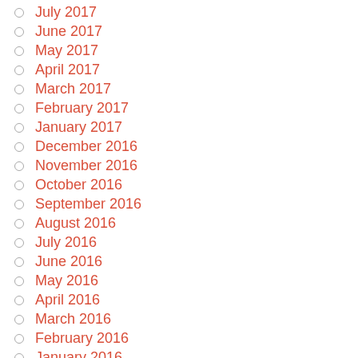July 2017
June 2017
May 2017
April 2017
March 2017
February 2017
January 2017
December 2016
November 2016
October 2016
September 2016
August 2016
July 2016
June 2016
May 2016
April 2016
March 2016
February 2016
January 2016